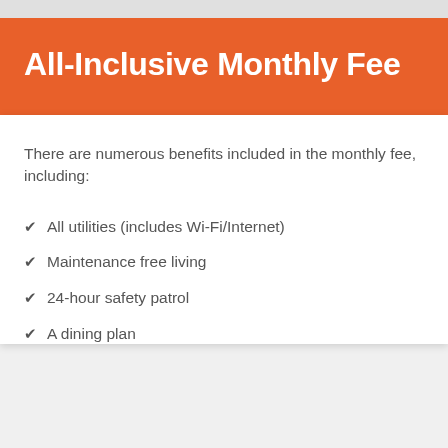All-Inclusive Monthly Fee
There are numerous benefits included in the monthly fee, including:
All utilities (includes Wi-Fi/Internet)
Maintenance free living
24-hour safety patrol
A dining plan